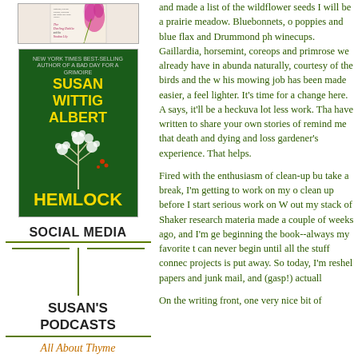[Figure (illustration): Book cover for 'The Darling Dahlia and the Voodoo Lily' with pink flower illustration]
[Figure (illustration): Book cover for 'Hemlock' by Susan Wittig Albert, dark green background with white flowering plant]
SOCIAL MEDIA
SUSAN'S PODCASTS
All About Thyme
and made a list of the wildflower seeds I will be a prairie meadow. Bluebonnets, o poppies and blue flax and Drummond ph winecups. Gaillardia, horsemint, coreops and primrose we already have in abunda naturally, courtesy of the birds and the w his mowing job has been made easier, a feel lighter. It's time for a change here. A says, it'll be a heckuva lot less work. Tha have written to share your own stories of remind me that death and dying and loss gardener's experience. That helps.
Fired with the enthusiasm of clean-up bu take a break, I'm getting to work on my o clean up before I start serious work on W out my stack of Shaker research materia made a couple of weeks ago, and I'm ge beginning the book--always my favorite t can never begin until all the stuff connec projects is put away. So today, I'm reshel papers and junk mail, and (gasp!) actuall
On the writing front, one very nice bit of